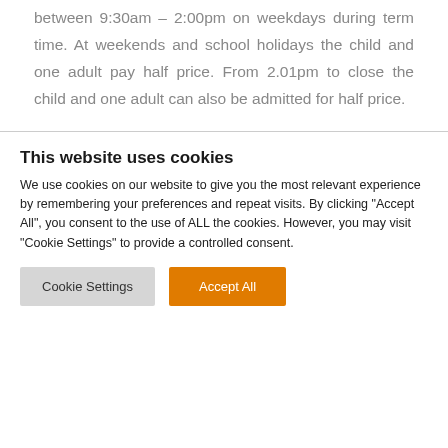between 9:30am – 2:00pm on weekdays during term time. At weekends and school holidays the child and one adult pay half price. From 2.01pm to close the child and one adult can also be admitted for half price.
This website uses cookies
We use cookies on our website to give you the most relevant experience by remembering your preferences and repeat visits. By clicking "Accept All", you consent to the use of ALL the cookies. However, you may visit "Cookie Settings" to provide a controlled consent.
Cookie Settings | Accept All